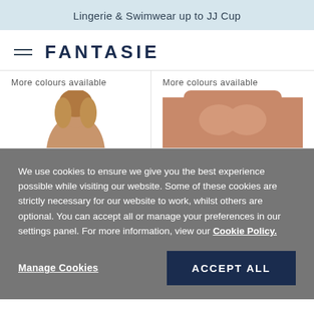Lingerie & Swimwear up to JJ Cup
FANTASIE
More colours available
More colours available
[Figure (photo): Model wearing lingerie, left column product image]
[Figure (photo): Model wearing lingerie, right column product image]
We use cookies to ensure we give you the best experience possible while visiting our website. Some of these cookies are strictly necessary for our website to work, whilst others are optional. You can accept all or manage your preferences in our settings panel. For more information, view our Cookie Policy.
Manage Cookies
ACCEPT ALL